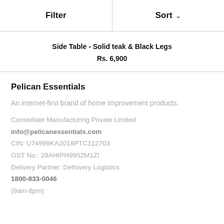Filter | Sort
Side Table - Solid teak & Black Legs
Rs. 6,900
Pelican Essentials
An internet-first brand of home improvement products.
Constellate Manufacturing Private Limited
info@pelicanessentials.com
CIN: U74999KA2018PTC112703
GST No.: 29AHIPH9952M1ZI
Delivery Partner: Delhivery Logistics
1800-833-0046
(9am-8pm)